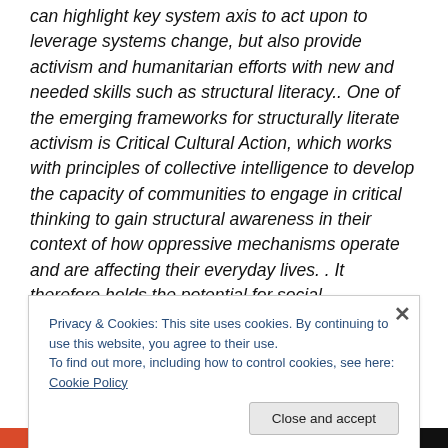can highlight key system axis to act upon to leverage systems change, but also provide activism and humanitarian efforts with new and needed skills such as structural literacy.. One of the emerging frameworks for structurally literate activism is Critical Cultural Action, which works with principles of collective intelligence to develop the capacity of communities to engage in critical thinking to gain structural awareness in their context of how oppressive mechanisms operate and are affecting their everyday lives. . It therefore holds the potential for social transformation by enabling populations to become
Privacy & Cookies: This site uses cookies. By continuing to use this website, you agree to their use.
To find out more, including how to control cookies, see here: Cookie Policy
Close and accept